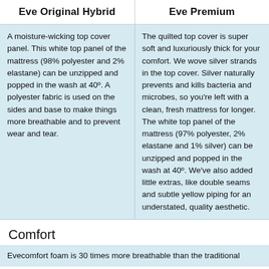| Eve Original Hybrid | Eve Premium |
| --- | --- |
| A moisture-wicking top cover panel. This white top panel of the mattress (98% polyester and 2% elastane) can be unzipped and popped in the wash at 40º. A polyester fabric is used on the sides and base to make things more breathable and to prevent wear and tear. | The quilted top cover is super soft and luxuriously thick for your comfort. We wove silver strands in the top cover. Silver naturally prevents and kills bacteria and microbes, so you're left with a clean, fresh mattress for longer. The white top panel of the mattress (97% polyester, 2% elastane and 1% silver) can be unzipped and popped in the wash at 40º. We've also added little extras, like double seams and subtle yellow piping for an understated, quality aesthetic. |
Comfort
Evecomfort foam is 30 times more breathable than the traditional